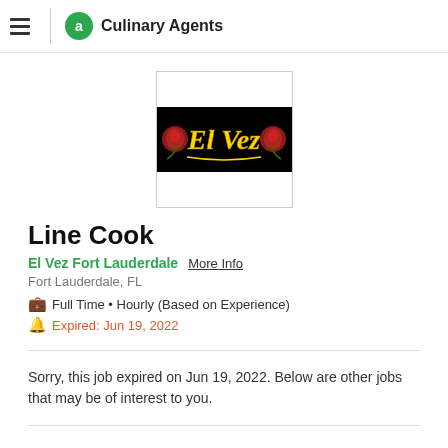Culinary Agents
[Figure (logo): El Vez Fort Lauderdale restaurant logo — black banner with yellow 'El Vez' cursive text and red rose decorations, in a white bordered box]
Line Cook
El Vez Fort Lauderdale  More Info
Fort Lauderdale, FL
Full Time • Hourly (Based on Experience)
Expired: Jun 19, 2022
Sorry, this job expired on Jun 19, 2022. Below are other jobs that may be of interest to you.